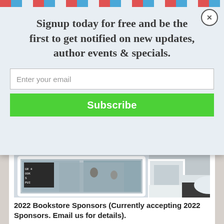Signup today for free and be the first to get notified on new updates, author events & specials.
Enter your email
Subscribe
[Figure (photo): Photo of a bookstore exterior with snow, showing windows and entrance]
2022 Bookstore Sponsors (Currently accepting 2022 Sponsors. Email us for details).
*Film Producer Christine Kunewa